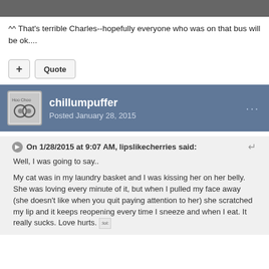[Figure (screenshot): Top dark grey bar, partial screenshot cropped]
^^ That's terrible Charles--hopefully everyone who was on that bus will be ok....
+ Quote
chillumpuffer
Posted January 28, 2015
On 1/28/2015 at 9:07 AM, lipslikecherries said:
Well, I was going to say..
My cat was in my laundry basket and I was kissing her on her belly. She was loving every minute of it, but when I pulled my face away (she doesn't like when you quit paying attention to her) she scratched my lip and it keeps reopening every time I sneeze and when I eat. It really sucks. Love hurts. :lol: